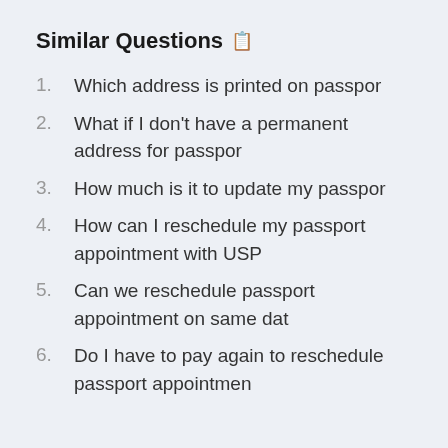Similar Questions
Which address is printed on passpor
What if I don't have a permanent address for passpor
How much is it to update my passpor
How can I reschedule my passport appointment with USP
Can we reschedule passport appointment on same dat
Do I have to pay again to reschedule passport appointmen